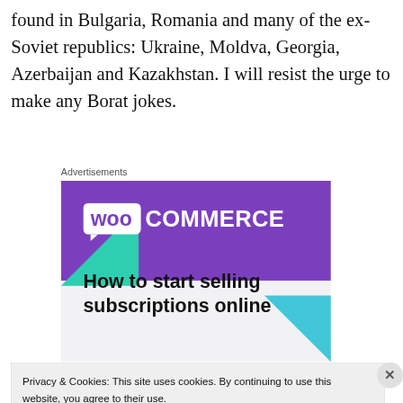found in Bulgaria, Romania and many of the ex-Soviet republics: Ukraine, Moldva, Georgia, Azerbaijan and Kazakhstan. I will resist the urge to make any Borat jokes.
Advertisements
[Figure (illustration): WooCommerce advertisement banner showing purple header with WooCommerce logo, teal and blue geometric triangles, and text 'How to start selling subscriptions online']
Privacy & Cookies: This site uses cookies. By continuing to use this website, you agree to their use.
To find out more, including how to control cookies, see here: Cookie Policy
Close and accept